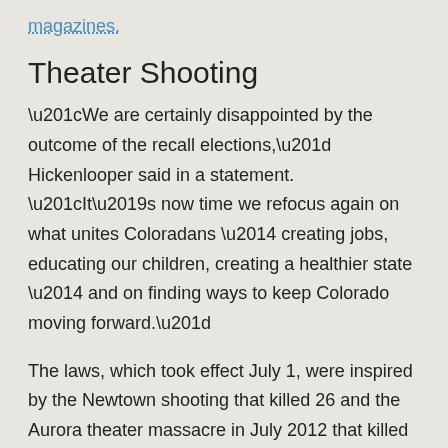magazines.
Theater Shooting
“We are certainly disappointed by the outcome of the recall elections,” Hickenlooper said in a statement. “It’s now time we refocus again on what unites Coloradans — creating jobs, educating our children, creating a healthier state — and on finding ways to keep Colorado moving forward.”
The laws, which took effect July 1, were inspired by the Newtown shooting that killed 26 and the Aurora theater massacre in July 2012 that killed 12 people and wounded 58. Colorado was also the site of the 1999 Columbine High School shooting in a Denver suburb in which two students killed 13 people and themselves.
Recall advocates got a jump on the senators. Giron